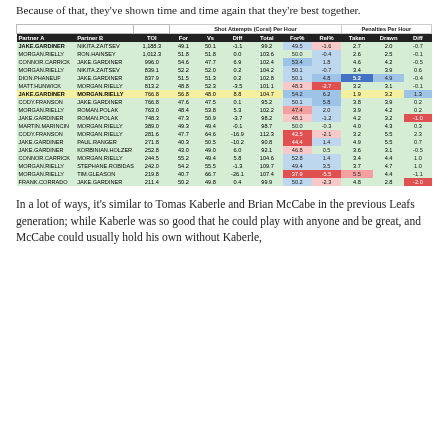Because of that, they've shown time and time again that they're best together.
| Partner A | Partner B | TOI | For | Vs | Diff | Total | For% | Rel% | Taken | Drawn | Diff |
| --- | --- | --- | --- | --- | --- | --- | --- | --- | --- | --- | --- |
| JAKE.GARDINER | NIKITA.ZAITSEV | 1,188.3 | 49.1 | 50.1 | -1.1 | 99.2 | 49.5 | -1.6 | 2.7 | 2.0 | -0.7 |
| MORGAN.RIELLY | RON.HAINSEY | 1,012.3 | 51.8 | 51.8 | 0.0 | 103.6 | 50.0 | -0.4 | 2.6 | 2.5 | -0.1 |
| CONNOR.CARRICK | JAKE.GARDINER | 996.0 | 54.6 | 47.7 | 6.9 | 102.4 | 53.4 | 1.8 | 4.6 | 4.2 | -0.5 |
| MORGAN.RIELLY | NIKITA.ZAITSEV | 839.1 | 52.2 | 52.0 | 0.2 | 104.2 | 50.1 | -0.7 | 3.4 | 3.9 | 0.6 |
| DION.PHANEUF | JAKE.GARDINER | 837.9 | 51.5 | 51.3 | 0.2 | 102.8 | 50.1 | 4.8 | 5.2 | 4.9 | -0.4 |
| MATT.HUNWICK | MORGAN.RIELLY | 813.2 | 48.8 | 52.3 | -3.5 | 101.1 | 48.3 | -2.7 | 3.2 | 3.1 | -0.1 |
| JAKE.GARDINER | MORGAN.RIELLY | 766.8 | 56.8 | 48.0 | 8.8 | 104.7 | 54.2 | 6.2 | 1.9 | 3.2 | 1.3 |
| CODY.FRANSON | JAKE.GARDINER | 766.8 | 47.6 | 47.5 | 0.1 | 95.2 | 50.1 | 5.8 | 3.8 | 3.9 | 0.2 |
| MORGAN.RIELLY | ROMAN.POLAK | 763.0 | 48.4 | 53.8 | 5.3 | 102.2 | 47.4 | 2.0 | 3.9 | 4.2 | 0.2 |
| JAKE.GARDINER | ROMAN.POLAK | 748.3 | 47.3 | 50.9 | -3.7 | 98.2 | 48.1 | -1.2 | 4.2 | 3.2 | -1.0 |
| MARTIN.MARINCIN | MORGAN.RIELLY | 389.0 | 49.3 | 49.4 | -0.1 | 98.7 | 50.0 | -0.3 | 4.0 | 4.3 | 0.3 |
| CODY.FRANSON | MORGAN.RIELLY | 281.6 | 47.7 | 64.6 | -16.9 | 112.3 | 42.5 | -2.1 | 3.2 | 5.5 | 2.3 |
| JAKE.GARDINER | PAUL.RANGER | 271.8 | 40.3 | 50.5 | -10.2 | 90.8 | 44.4 | 1.4 | 4.9 | 5.5 | 0.7 |
| JAKE.GARDINER | KORBINIAN.HOLZER | 252.8 | 43.0 | 49.0 | 6.0 | 92.1 | 46.8 | 0.5 | 3.6 | 3.1 | -0.5 |
| CONNOR.CARRICK | MORGAN.RIELLY | 244.5 | 55.2 | 49.4 | 5.8 | 104.6 | 52.8 | 1.4 | 3.4 | 4.4 | 1.0 |
| MORGAN.RIELLY | STEPHANE.ROBIDAS | 242.0 | 54.2 | 55.5 | -1.3 | 109.7 | 49.4 | 3.5 | 3.7 | 4.7 | 1.0 |
| MORGAN.RIELLY | TIM.GLEASON | 219.8 | 40.7 | 66.7 | -26.1 | 107.4 | 37.9 | -5.5 | 5.5 | 4.4 | -1.1 |
| FRANK.CORRADO | JAKE.GARDINER | 211.4 | 50.2 | 49.8 | 0.4 | 99.9 | 50.2 | -2.3 | 4.8 | 2.8 | -2.0 |
In a lot of ways, it's similar to Tomas Kaberle and Brian McCabe in the previous Leafs generation; while Kaberle was so good that he could play with anyone and be great, and McCabe could usually hold his own without Kaberle,